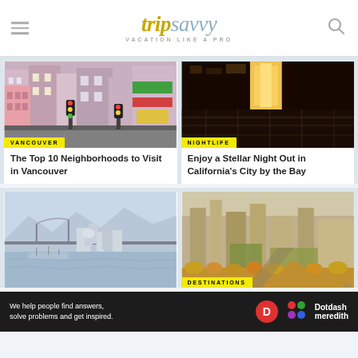tripsavvy — VACATION LIKE A PRO
[Figure (photo): Aerial/street view of Vancouver colorful urban neighborhood with buildings and traffic lights]
VANCOUVER
The Top 10 Neighborhoods to Visit in Vancouver
[Figure (photo): Aerial nighttime cityscape with bright lights, nightlife scene, California city]
NIGHTLIFE
Enjoy a Stellar Night Out in California's City by the Bay
[Figure (photo): Aerial view of Vancouver waterfront with marina, bridges, and skyline]
[Figure (photo): Aerial view of urban city with green parks and autumn trees, destinations]
DESTINATIONS
We help people find answers, solve problems and get inspired. Dotdash meredith Ad